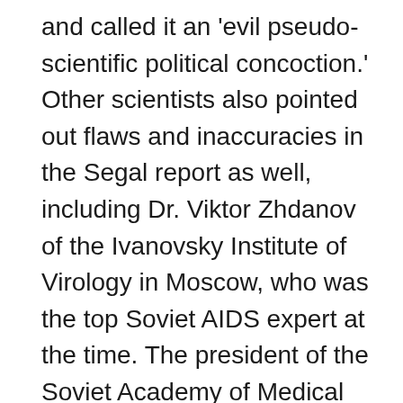and called it an 'evil pseudo-scientific political concoction.' Other scientists also pointed out flaws and inaccuracies in the Segal report as well, including Dr. Viktor Zhdanov of the Ivanovsky Institute of Virology in Moscow, who was the top Soviet AIDS expert at the time. The president of the Soviet Academy of Medical Sciences clearly stated that he believed the virus to be of natural origin. Other scientists and doctors from Paris, East and West Berlin, India, and Belgium called the AIDS rumors lies, scientifically unfounded, and otherwise impossible to seriously consider. [18] Although Segal himself never said 'this is fact' and was very careful to maintain this line throughout his report, "such technical qualifiers do not diminish the impact of the charges, however, because when they are